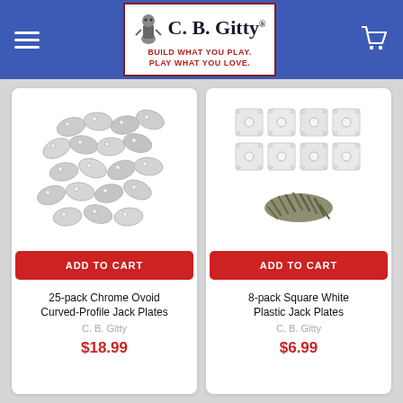C. B. Gitty — BUILD WHAT YOU PLAY. PLAY WHAT YOU LOVE.
[Figure (photo): Product image: 25 chrome ovoid curved-profile jack plates arranged in a scattered pile]
ADD TO CART
25-pack Chrome Ovoid Curved-Profile Jack Plates
C. B. Gitty
$18.99
[Figure (photo): Product image: 8 square white plastic jack plates arranged in two rows plus a pile of screws below]
ADD TO CART
8-pack Square White Plastic Jack Plates
C. B. Gitty
$6.99